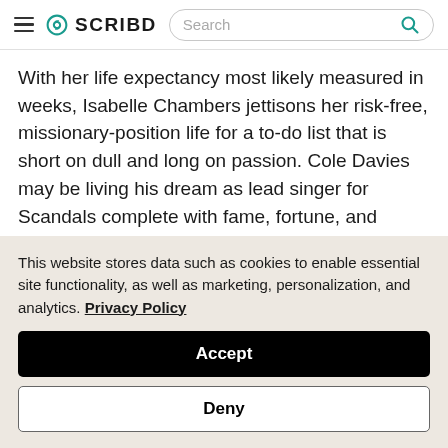SCRIBD — Search
With her life expectancy most likely measured in weeks, Isabelle Chambers jettisons her risk-free, missionary-position life for a to-do list that is short on dull and long on passion. Cole Davies may be living his dream as lead singer for Scandals complete with fame, fortune, and unlimited female attention, but life still feels incomplete. So when Isabelle takes her list viral on Twitter he can't resist her appeal. From flying to bondage and touring with the band to getting it on in
This website stores data such as cookies to enable essential site functionality, as well as marketing, personalization, and analytics. Privacy Policy
Accept
Deny